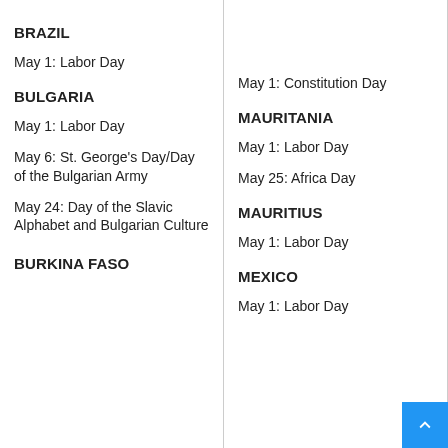BRAZIL
May 1: Labor Day
BULGARIA
May 1: Labor Day
May 6: St. George's Day/Day of the Bulgarian Army
May 24: Day of the Slavic Alphabet and Bulgarian Culture
BURKINA FASO
May 1: Constitution Day
MAURITANIA
May 1: Labor Day
May 25: Africa Day
MAURITIUS
May 1: Labor Day
MEXICO
May 1: Labor Day